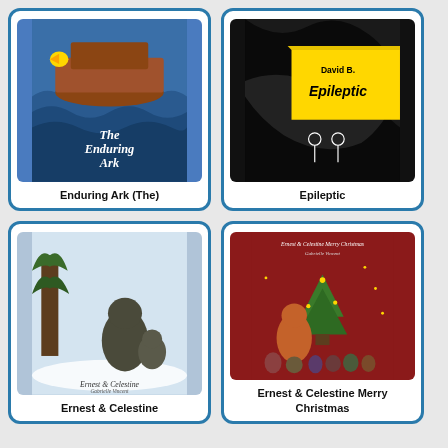[Figure (illustration): Book cover of 'The Enduring Ark' showing a colorful ark on blue stylized waves with a bird figurehead]
Enduring Ark (The)
[Figure (illustration): Book cover of 'Epileptic' by David B., black and white illustration with yellow diagonal banner]
Epileptic
[Figure (illustration): Book cover of 'Ernest & Celestine' by Gabrielle Vincent, showing two bear-like figures in a snowy winter scene near a tree]
Ernest & Celestine
[Figure (illustration): Book cover of 'Ernest & Celestine Merry Christmas' showing festive bears celebrating around a Christmas tree]
Ernest & Celestine Merry Christmas